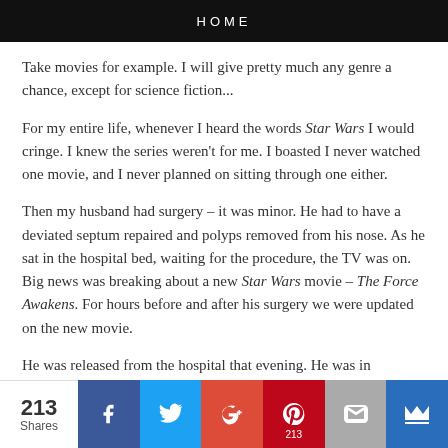HOME
Take movies for example. I will give pretty much any genre a chance, except for science fiction...
For my entire life, whenever I heard the words Star Wars I would cringe. I knew the series weren't for me. I boasted I never watched one movie, and I never planned on sitting through one either.
Then my husband had surgery – it was minor. He had to have a deviated septum repaired and polyps removed from his nose. As he sat in the hospital bed, waiting for the procedure, the TV was on. Big news was breaking about a new Star Wars movie – The Force Awakens. For hours before and after his surgery we were updated on the new movie.
He was released from the hospital that evening. He was in discomfort and quite groggy. He needed a quiet night. I made him a light dinner and suggested we curl up on the couch and watch a movie. And
213 Shares | Facebook | Twitter | G+ | Pinterest 213 | Email | Crown